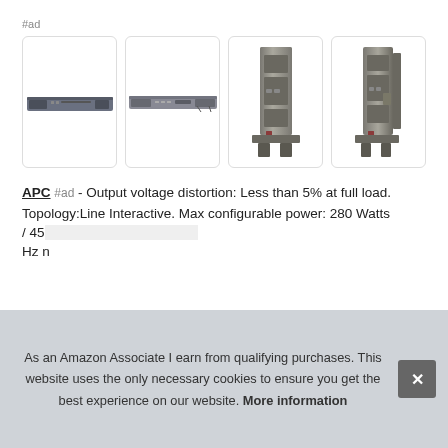#ad
[Figure (photo): Four product images of APC UPS units: two rack-mount horizontal units on the left, two tall tower-style UPS units on the right]
APC #ad - Output voltage distortion: Less than 5% at full load. Topology:Line Interactive. Max configurable power: 280 Watts / 45 Hz n
As an Amazon Associate I earn from qualifying purchases. This website uses the only necessary cookies to ensure you get the best experience on our website. More information